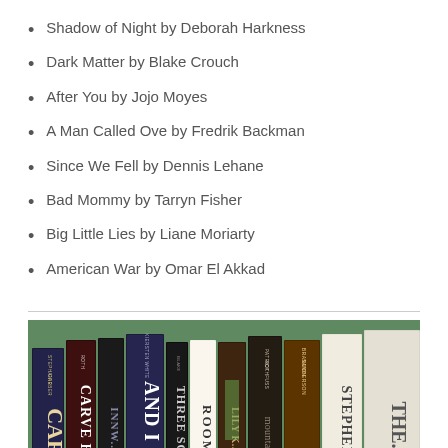Shadow of Night by Deborah Harkness
Dark Matter by Blake Crouch
After You by Jojo Moyes
A Man Called Ove by Fredrik Backman
Since We Fell by Dennis Lehane
Bad Mommy by Tarryn Fisher
Big Little Lies by Liane Moriarty
American War by Omar El Akkad
[Figure (photo): Photo of book spines arranged on a green background, showing various novels including titles by Stephanie Garber, Roth, Kiersten White, Blake, Room, Lily King, Patrick Rothfuss, Brandon Sanderson, Stephenie Meyer, and others.]